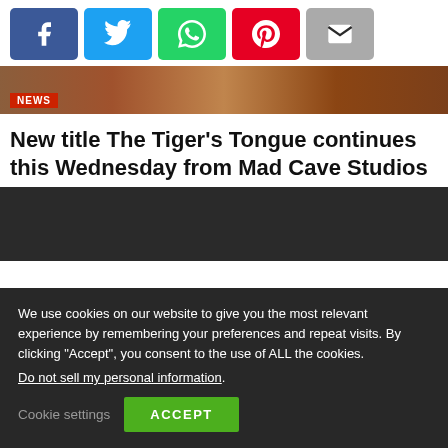[Figure (other): Social share buttons: Facebook (blue), Twitter (cyan), WhatsApp (green), Pinterest (red), Email (gray)]
[Figure (photo): Top partial image showing brown/chocolate tones with a red NEWS badge overlay]
New title The Tiger’s Tongue continues this Wednesday from Mad Cave Studios
[Figure (photo): Dark/black image area, partial view of an article image]
We use cookies on our website to give you the most relevant experience by remembering your preferences and repeat visits. By clicking “Accept”, you consent to the use of ALL the cookies.
Do not sell my personal information.
Cookie settings  ACCEPT